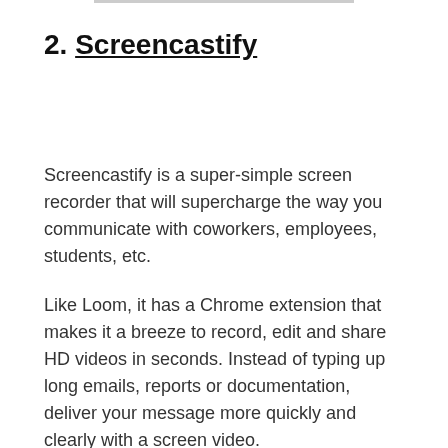2. Screencastify
Screencastify is a super-simple screen recorder that will supercharge the way you communicate with coworkers, employees, students, etc.
Like Loom, it has a Chrome extension that makes it a breeze to record, edit and share HD videos in seconds. Instead of typing up long emails, reports or documentation, deliver your message more quickly and clearly with a screen video.